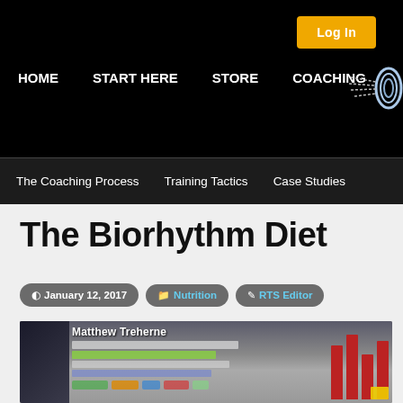Log In | HOME | START HERE | STORE | COACHING
The Coaching Process | Training Tactics | Case Studies
The Biorhythm Diet
January 12, 2017 | Nutrition | RTS Editor
[Figure (photo): Blurred photo of a presentation screen showing 'Matthew Treherne' and a data table with colored rows and bar charts on the right side.]